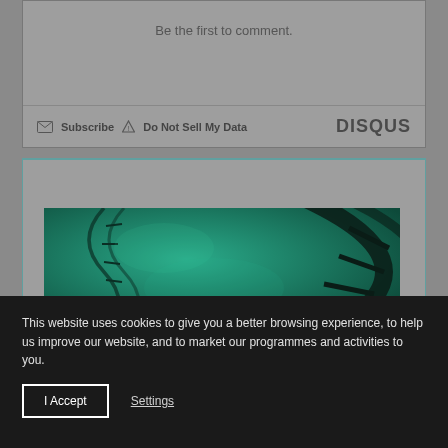Be the first to comment.
Subscribe  Do Not Sell My Data  DISQUS
More stories
[Figure (photo): Green-tinted DNA double helix illustration on dark teal background]
This website uses cookies to give you a better browsing experience, to help us improve our website, and to market our programmes and activities to you.
I Accept  Settings